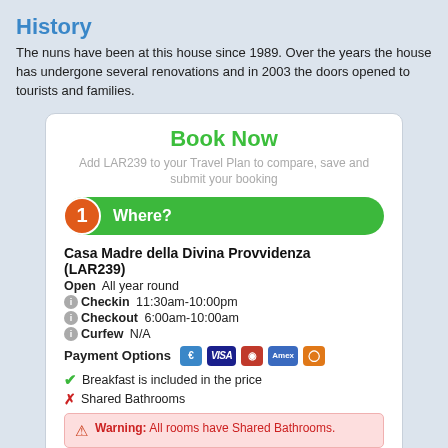History
The nuns have been at this house since 1989. Over the years the house has undergone several renovations and in 2003 the doors opened to tourists and families.
[Figure (screenshot): Booking widget with 'Book Now' heading, property info for Casa Madre della Divina Provvidenza (LAR239), step 1 Where?, step 2 When and Who?, payment icons, amenities, warning box, and arrive/depart fields.]